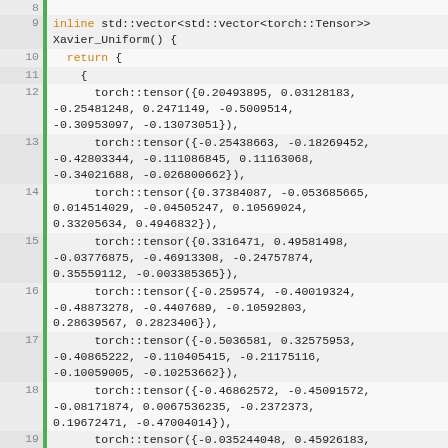[Figure (screenshot): Code editor screenshot showing C++ source code lines 8-21, defining a function Xavier_Uniform() that returns a std::vector of std::vector of torch::Tensor, with multiple torch::tensor({...}) entries containing floating-point values.]